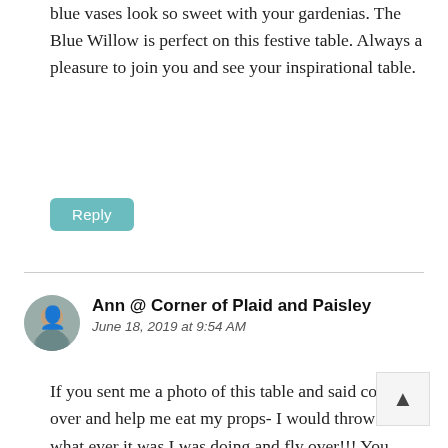blue vases look so sweet with your gardenias. The Blue Willow is perfect on this festive table. Always a pleasure to join you and see your inspirational table.
Reply
Ann @ Corner of Plaid and Paisley
June 18, 2019 at 9:54 AM
If you sent me a photo of this table and said come on over and help me eat my props- I would throw down what ever it was I was doing and fly over!!! You have created a gorgeous table!! I like the rustic crate styled with your beautiful cups and saucers, a great way to elevate your vase of blooms and flags. But favorite thing on your table is the wonderf blue print napkins with the red border, a perfect pairing to your placesetting. I always